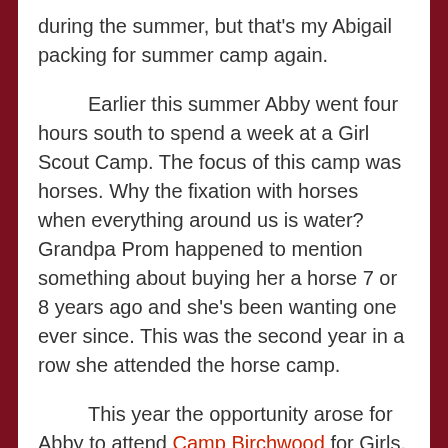during the summer, but that's my Abigail packing for summer camp again.

Earlier this summer Abby went four hours south to spend a week at a Girl Scout Camp.  The focus of this camp was horses.  Why the fixation with horses when everything around us is water? Grandpa Prom happened to mention something about buying her a horse 7 or 8 years ago and she's been wanting one ever since.  This was the second year in a row she attended the horse camp.

This year the opportunity arose for Abby to attend Camp Birchwood for Girls.  This is the sister camp to Camp Birchwood for Boys which is